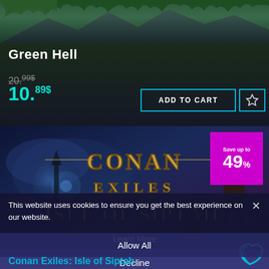[Figure (screenshot): Top portion of game screenshot showing Green Hell — jungle/fantasy environment with trees and foliage]
Green Hell
20.99$
10.89$
ADD TO CART
[Figure (screenshot): Conan Exiles: Isle of Siptah promotional banner — dark fantasy artwork with title text 'CONAN EXILES ISLE OF SIPTAH', warrior character and mystical scene. Pink badge reads 'Save up to 49%']
This website uses cookies to ensure you get the best experience on our website.
Learn More
Decline
Allow All
Conan Exiles: Isle of Siptah